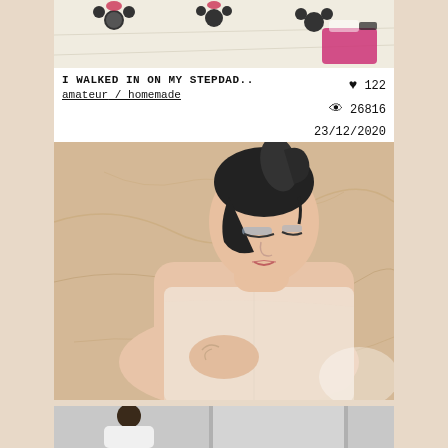[Figure (photo): Top portion of a photo showing a bed with Mickey/Minnie Mouse patterned bedding and a pink item]
I WALKED IN ON MY STEPDAD..
amateur / homemade
♥ 122  👁 26816  23/12/2020
[Figure (photo): Woman with dark hair in a ponytail lying on a marble-patterned surface, wearing a light-colored top, eyes closed]
[Figure (photo): Partial view of a person from behind in what appears to be a bathroom or locker room setting]